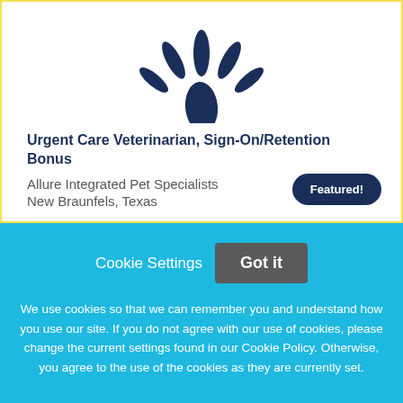[Figure (logo): Stylized dark blue paw print / splash icon on white background]
Urgent Care Veterinarian, Sign-On/Retention Bonus
Allure Integrated Pet Specialists
New Braunfels, Texas
Featured!
Cookie Settings
Got it
We use cookies so that we can remember you and understand how you use our site. If you do not agree with our use of cookies, please change the current settings found in our Cookie Policy. Otherwise, you agree to the use of the cookies as they are currently set.